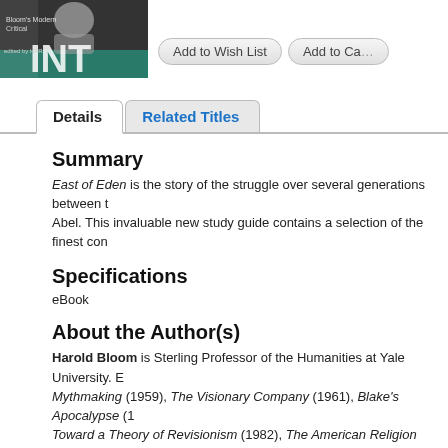[Figure (photo): Book cover for Bloom's Modern Critical Interpretations, partially visible, showing 'INT' text and a black and white photo on a green background]
Add to Wish List  Add to Cart
Details  Related Titles
Summary
East of Eden is the story of the struggle over several generations between the descendants of Cain and Abel. This invaluable new study guide contains a selection of the finest con
Specifications
eBook
About the Author(s)
Harold Bloom is Sterling Professor of the Humanities at Yale University. E... Mythmaking (1959), The Visionary Company (1961), Blake's Apocalypse (1... Toward a Theory of Revisionism (1982), The American Religion (1992), The... Resurrection (1996), and Shakespeare: The Invention of the Human (1998... Bloom's provocative theory of the literary relationships between the great w... Genius: A Mosaic of One Hundred Exemplary Creative Minds (2002), Ha...